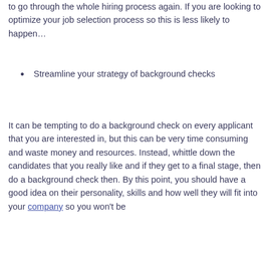integrating them within your company and will have to go through the whole hiring process again. If you are looking to optimize your job selection process so this is less likely to happen…
Streamline your strategy of background checks
It can be tempting to do a background check on every applicant that you are interested in, but this can be very time consuming and waste money and resources. Instead, whittle down the candidates that you really like and if they get to a final stage, then do a background check then. By this point, you should have a good idea on their personality, skills and how well they will fit into your company so you won't be